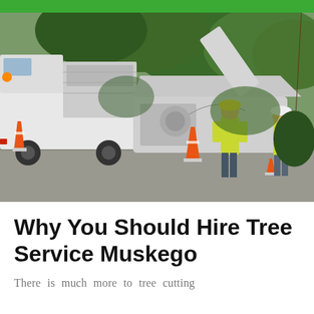[Figure (photo): Tree service workers with safety vests and hard hats operating a wood chipper machine connected to a truck on a residential street, with orange traffic cones, surrounded by trees and vegetation.]
Why You Should Hire Tree Service Muskego
There is much more to tree cutting